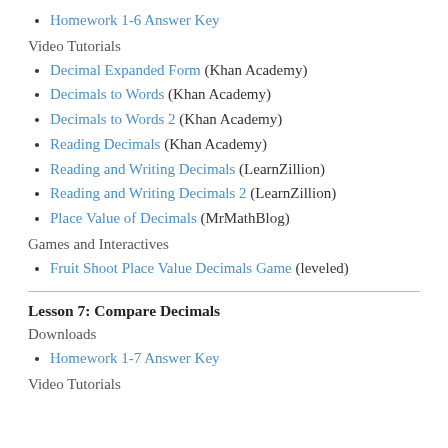Homework 1-6 Answer Key
Video Tutorials
Decimal Expanded Form (Khan Academy)
Decimals to Words (Khan Academy)
Decimals to Words 2 (Khan Academy)
Reading Decimals (Khan Academy)
Reading and Writing Decimals (LearnZillion)
Reading and Writing Decimals 2 (LearnZillion)
Place Value of Decimals (MrMathBlog)
Games and Interactives
Fruit Shoot Place Value Decimals Game (leveled)
Lesson 7: Compare Decimals
Downloads
Homework 1-7 Answer Key
Video Tutorials